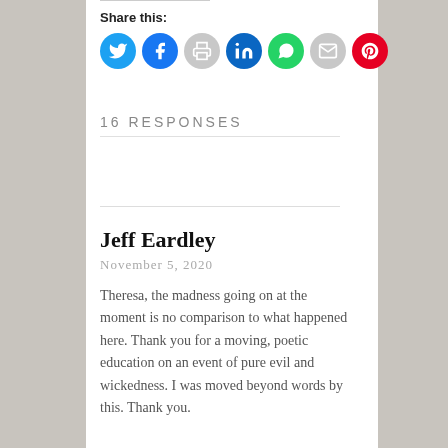Share this:
[Figure (infographic): Row of social share icon circles: Twitter (blue), Facebook (blue), Print (grey), LinkedIn (dark blue), WhatsApp (green), Email (grey), Pinterest (red)]
16 RESPONSES
Jeff Eardley
November 5, 2020
Theresa, the madness going on at the moment is no comparison to what happened here. Thank you for a moving, poetic education on an event of pure evil and wickedness. I was moved beyond words by this. Thank you.